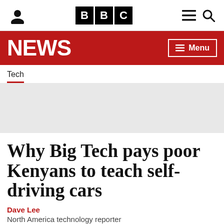BBC NEWS
Tech
[Figure (other): Grey placeholder image area (advertisement or photo loading placeholder)]
Why Big Tech pays poor Kenyans to teach self-driving cars
Dave Lee
North America technology reporter